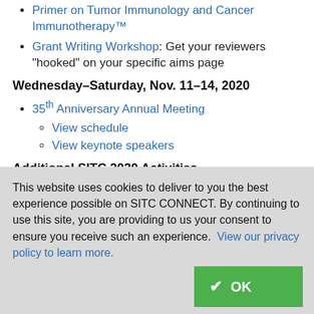Primer on Tumor Immunology and Cancer Immunotherapy™
Grant Writing Workshop: Get your reviewers “hooked” on your specific aims page
Wednesday–Saturday, Nov. 11–14, 2020
35th Anniversary Annual Meeting
View schedule
View keynote speakers
Additional SITC 2020 Activities
The CheckPoints Band Party
This website uses cookies to deliver to you the best experience possible on SITC CONNECT. By continuing to use this site, you are providing to us your consent to ensure you receive such an experience. View our privacy policy to learn more.